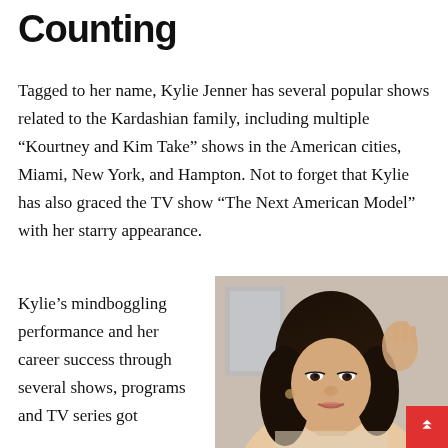Counting
Tagged to her name, Kylie Jenner has several popular shows related to the Kardashian family, including multiple “Kourtney and Kim Take” shows in the American cities, Miami, New York, and Hampton. Not to forget that Kylie has also graced the TV show “The Next American Model” with her starry appearance.
Kylie’s mindboggling performance and her career success through several shows, programs and TV series got
[Figure (photo): Portrait photo of Kylie Jenner with dark hair, looking at camera, hand raised to her hair, indoor background]